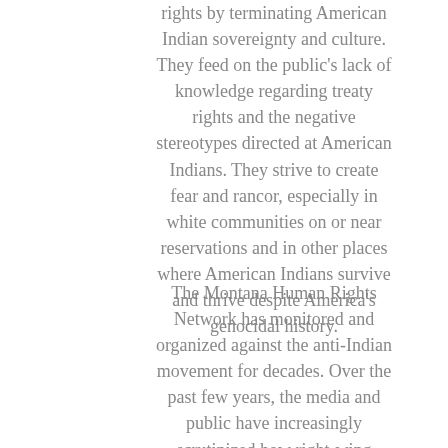rights by terminating American Indian sovereignty and culture. They feed on the public's lack of knowledge regarding treaty rights and the negative stereotypes directed at American Indians. They strive to create fear and rancor, especially in white communities on or near reservations and in other places where American Indians survive and thrive despite America's genocidal history.
The Montana Human Rights Network has monitored and organized against the anti-Indian movement for decades. Over the past few years, the media and public have increasingly scrutinized how right-wing extremism finds its way into the political mainstream. At the same time, the number of hate groups seems to continually rise. In this context, the